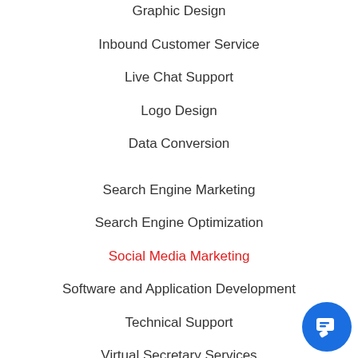Graphic Design
Inbound Customer Service
Live Chat Support
Logo Design
Data Conversion
Search Engine Marketing
Search Engine Optimization
Social Media Marketing
Software and Application Development
Technical Support
Virtual Secretary Services
Web Design & Development
Writing & Research Services